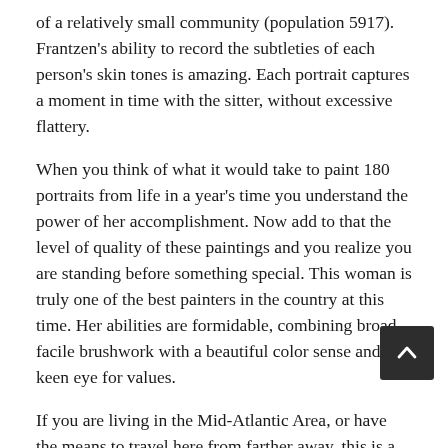of a relatively small community (population 5917). Frantzen's ability to record the subtleties of each person's skin tones is amazing. Each portrait captures a moment in time with the sitter, without excessive flattery.
When you think of what it would take to paint 180 portraits from life in a year's time you understand the power of her accomplishment. Now add to that the level of quality of these paintings and you realize you are standing before something special. This woman is truly one of the best painters in the country at this time. Her abilities are formidable, combining broad facile brushwork with a beautiful color sense and keen eye for values.
If you are living in the Mid-Atlantic Area, or have the means to travel here from farther away, this is a chance to see living painters work as accomplished as Sargent or Bea... The show is on display at the Smithsonian National Portrait Gallery until July 5 2010, don't miss it. The show is